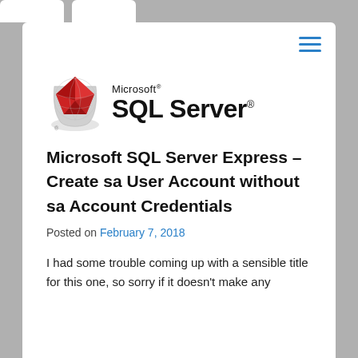[Figure (logo): Microsoft SQL Server logo with red geometric diamond/globe icon on left, and 'Microsoft® SQL Server®' text on right]
Microsoft SQL Server Express – Create sa User Account without sa Account Credentials
Posted on February 7, 2018
I had some trouble coming up with a sensible title for this one, so sorry if it doesn't make any